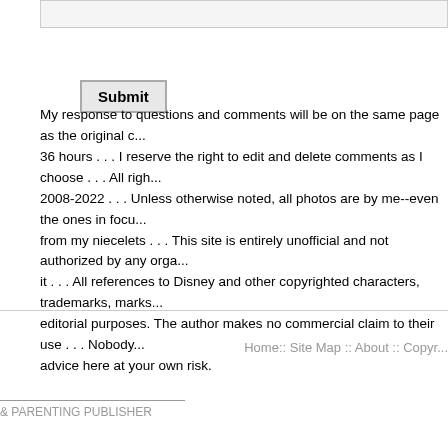Submit
My response to questions and comments will be on the same page as the original c... 36 hours . . . I reserve the right to edit and delete comments as I choose . . . All righ... 2008-2022 . . . Unless otherwise noted, all photos are by me--even the ones in focu... from my niecelets . . . This site is entirely unofficial and not authorized by any orga... it . . . All references to Disney and other copyrighted characters, trademarks, marks... editorial purposes. The author makes no commercial claim to their use . . . Nobody... advice here at your own risk.
Home:: Site Map :: About :: Copyr...
& PARENTING PUBLISHER